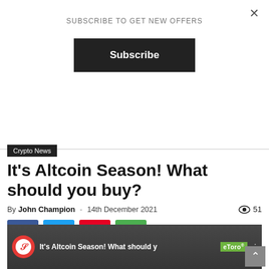SUBSCRIBE TO GET NEW OFFERS
Subscribe
Crypto News
It's Altcoin Season! What should you buy?
By John Champion - 14th December 2021   51
[Figure (other): Social share buttons: Facebook, Twitter, Pinterest, WhatsApp]
[Figure (screenshot): Video thumbnail showing two men in suits with text 'It’s Altcoin Season! What should you buy?' and eToro logo, with Blokt channel logo]